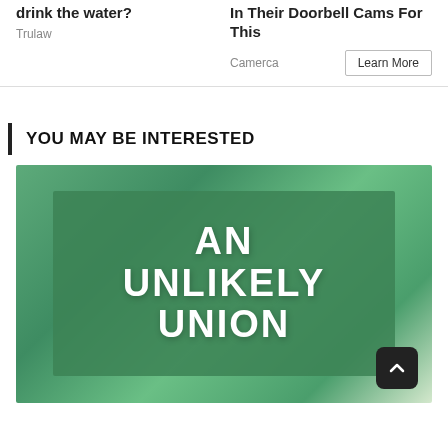drink the water?
Trulaw
In Their Doorbell Cams For This
Camerca
Learn More
YOU MAY BE INTERESTED
[Figure (illustration): Book cover image with green brushstroke background and white bold text reading 'AN UNLIKELY UNION']